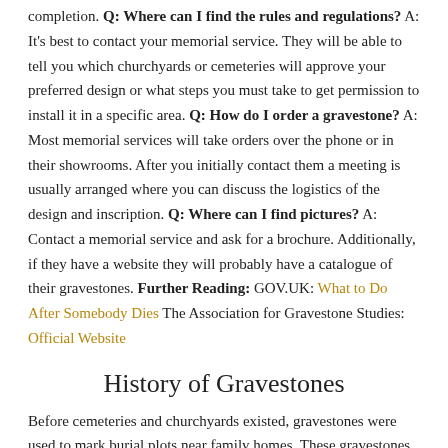completion. Q: Where can I find the rules and regulations? A: It's best to contact your memorial service. They will be able to tell you which churchyards or cemeteries will approve your preferred design or what steps you must take to get permission to install it in a specific area. Q: How do I order a gravestone? A: Most memorial services will take orders over the phone or in their showrooms. After you initially contact them a meeting is usually arranged where you can discuss the logistics of the design and inscription. Q: Where can I find pictures? A: Contact a memorial service and ask for a brochure. Additionally, if they have a website they will probably have a catalogue of their gravestones. Further Reading: GOV.UK: What to Do After Somebody Dies The Association for Gravestone Studies: Official Website
History of Gravestones
Before cemeteries and churchyards existed, gravestones were used to mark burial plots near family homes. These gravestones were usually made from piles of rock or wood and were marked with only the deceased's name, age and year of death. In around 1650, churches started allowing gravestones to be erected on their grounds. Originally only the middle and upper classes used them; however, after Protestant